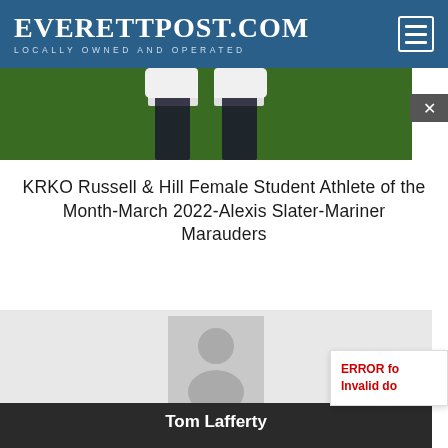EverettPost.com — Locally Owned and Operated
[Figure (photo): Partial photo showing white sneakers and dark pants legs on green turf/grass field]
KRKO Russell & Hill Female Student Athlete of the Month-March 2022-Alexis Slater-Mariner Marauders
[Figure (photo): Default author avatar placeholder showing silhouette of a person on gray background]
Tom Lafferty
Tom Lafferty is the Sports Director at KRKO/KKYA